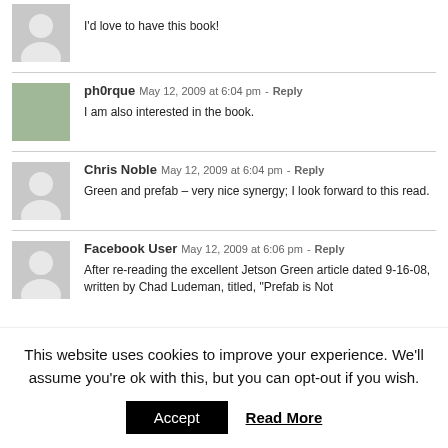I'd love to have this book!
ph0rque  May 12, 2009 at 6:04 pm - Reply
I am also interested in the book.
Chris Noble  May 12, 2009 at 6:04 pm - Reply
Green and prefab – very nice synergy; I look forward to this read.
Facebook User  May 12, 2009 at 6:06 pm - Reply
After re-reading the excellent Jetson Green article dated 9-16-08, written by Chad Ludeman, titled, "Prefab is Not
This website uses cookies to improve your experience. We'll assume you're ok with this, but you can opt-out if you wish.
Accept  Read More